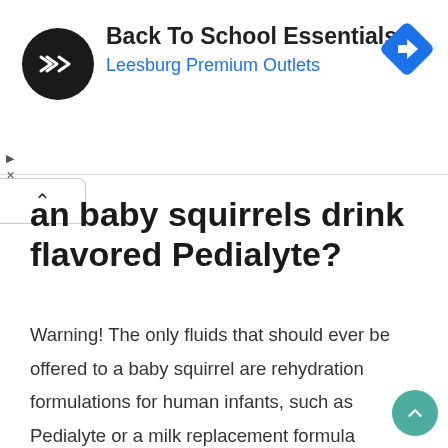[Figure (screenshot): Advertisement banner for Back To School Essentials at Leesburg Premium Outlets with circular logo and blue diamond arrow icon]
an baby squirrels drink flavored Pedialyte?
Warning! The only fluids that should ever be offered to a baby squirrel are rehydration formulations for human infants, such as Pedialyte or a milk replacement formula appropriate for squirrels (such as Fox Valley Day One). Inappropriate fluids will make